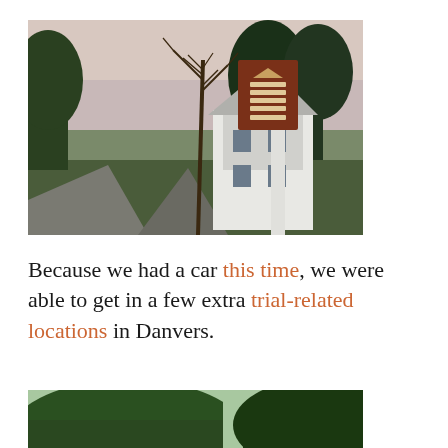[Figure (photo): Outdoor photograph at dusk of a historic white colonial-style building (General Israel Putnam House) surrounded by trees, with a tall white sign post bearing a brown rectangular sign reading 'General Israel Putnam House' with a logo at the top. A gravel driveway is visible in the foreground.]
Because we had a car this time, we were able to get in a few extra trial-related locations in Danvers.
[Figure (photo): Partial outdoor photograph showing two sections of tree-lined scenery in daylight, appearing to show two separate photos side by side or a single wide photo cropped.]